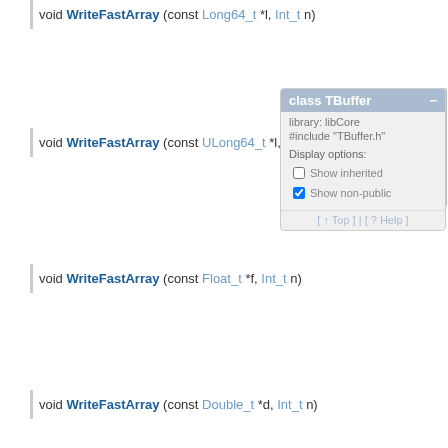void WriteFastArray (const Long64_t *l, Int_t n)
void WriteFastArray (const ULong64_t *l, Int_t n)
void WriteFastArray (const Float_t *f, Int_t n)
void WriteFastArray (const Double_t *d, Int_t n)
void WriteFastArrayFloat16 (const Float_t* f, Int_t n, TStreamerElement
void WriteFastArrayDouble32 (const Double_t* d, Int_t n, TStreamerEle
void WriteFastArray (void* start, const TClass* cl, Int_t n = 1, TMemberS
Int_t WriteFastArray (void** startp, const TClass* cl, Int_t n = 1, Bool_t is
[Figure (screenshot): Tooltip popup showing 'class TBuffer' with library: libCore, #include TBuffer.h, Display options: Show inherited (unchecked), Show non-public (checked), and navigation links Top and Help]